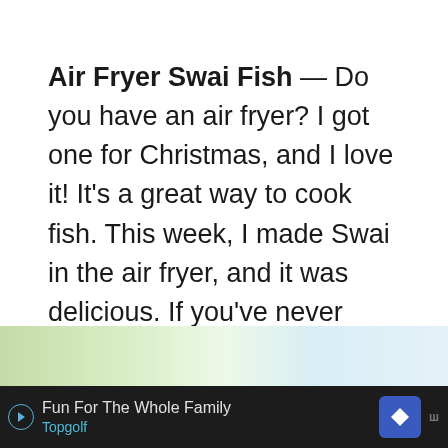Air Fryer Swai Fish — Do you have an air fryer? I got one for Christmas, and I love it! It's a great way to cook fish. This week, I made Swai in the air fryer, and it was delicious. If you've never cooked Swai before, it's a great fish to try. It's mild in flavor and doesn't have a lot of bones. Plus, it's affordable. Give this recipe a try, and let me know what you think!
[Figure (photo): Partial bottom strip of a food photo showing green vegetables and a white dish/bowl]
Fun For The Whole Family  Topgolf